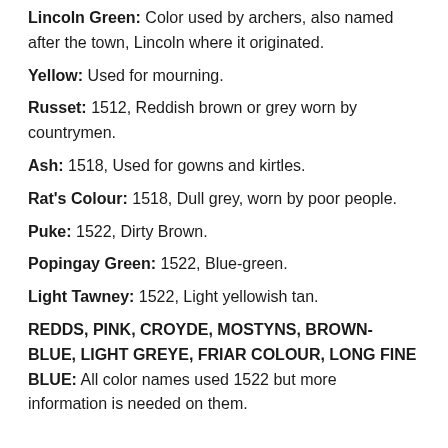Lincoln Green: Color used by archers, also named after the town, Lincoln where it originated.
Yellow: Used for mourning.
Russet: 1512, Reddish brown or grey worn by countrymen.
Ash: 1518, Used for gowns and kirtles.
Rat's Colour: 1518, Dull grey, worn by poor people.
Puke: 1522, Dirty Brown.
Popingay Green: 1522, Blue-green.
Light Tawney: 1522, Light yellowish tan.
REDDS, PINK, CROYDE, MOSTYNS, BROWN-BLUE, LIGHT GREYE, FRIAR COLOUR, LONG FINE BLUE: All color names used 1522 but more information is needed on them.